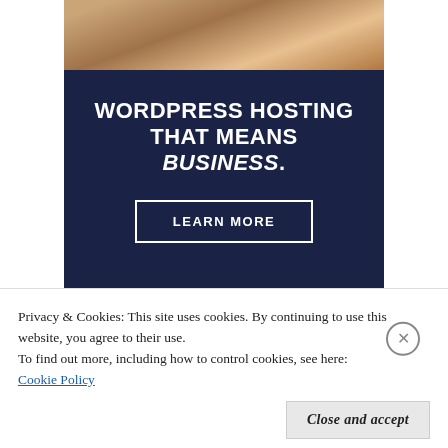[Figure (photo): Close-up photo of hands, warm brown tones, partial view of a person's hands against a wooden surface]
WORDPRESS HOSTING THAT MEANS BUSINESS.
LEARN MORE
Privacy & Cookies: This site uses cookies. By continuing to use this website, you agree to their use.
To find out more, including how to control cookies, see here:
Cookie Policy
Close and accept